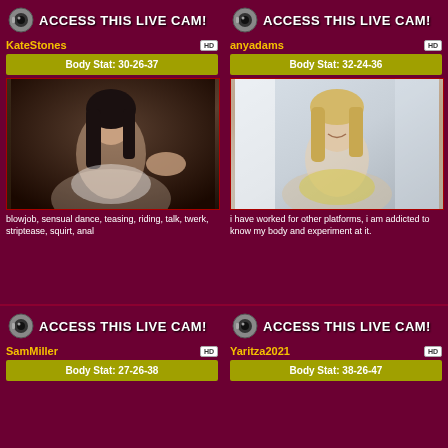ACCESS THIS LIVE CAM!
KateStones
HD
Body Stat: 30-26-37
[Figure (photo): Woman with dark hair in white outfit posing dramatically]
blowjob, sensual dance, teasing, riding, talk, twerk, striptease, squirt, anal
ACCESS THIS LIVE CAM!
anyadams
HD
Body Stat: 32-24-36
[Figure (photo): Blonde woman smiling, wearing light colored top]
i have worked for other platforms, i am addicted to know my body and experiment at it.
ACCESS THIS LIVE CAM!
SamMiller
HD
Body Stat: 27-26-38
ACCESS THIS LIVE CAM!
Yaritza2021
HD
Body Stat: 38-26-47